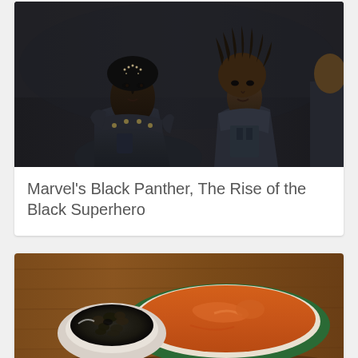[Figure (photo): Movie still from Marvel's Black Panther featuring characters in dark futuristic armor, close-up of a woman with face markings and a man with dreadlocks]
Marvel's Black Panther, The Rise of the Black Superhero
[Figure (photo): Food photo showing a small white bowl of dark cooked beans/food and a large green-rimmed bowl filled with smooth orange soup or puree, on a wooden surface]